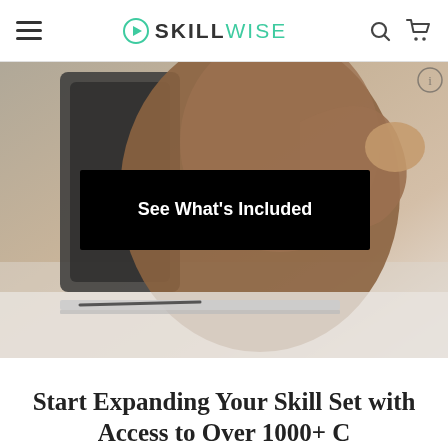SKILLWISE
[Figure (photo): Person sitting at desk working on laptop, viewed from behind/side, wearing brown jacket, with a black banner overlay reading 'See What's Included']
Start Expanding Your Skill Set with Access to Over 1000+ C...